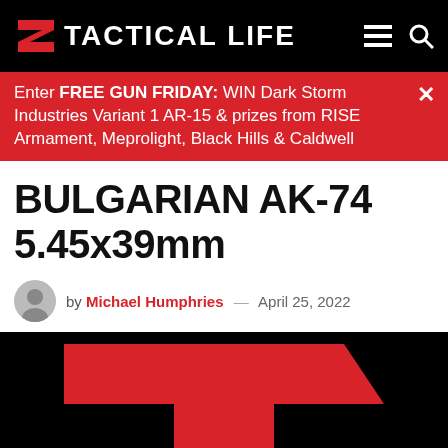TACTICAL LIFE
Enter FREE GUN FRIDAY: WIN Dark Storm Industries Variant 1 AR-15 & prizes from RISE Armament, Meprolight, Black Hills & Caldwell
BULGARIAN AK-74 5.45x39mm
by Michael Humphries — April 25, 2022
[Figure (logo): Tactical Life logo (large red T on black background)]